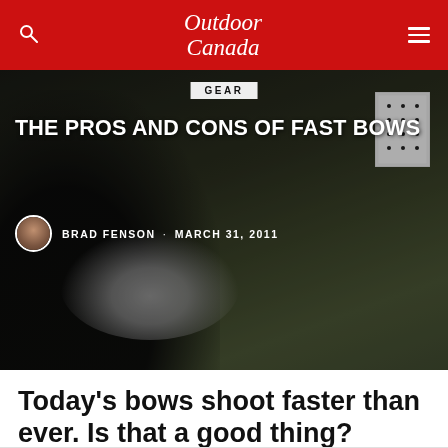Outdoor Canada
[Figure (photo): A person in dark clothing drawing a compound bow outdoors, with an archery target visible in the background on the right. Overlaid text shows article category GEAR, title THE PROS AND CONS OF FAST BOWS, author BRAD FENSON, and date MARCH 31, 2011.]
GEAR
THE PROS AND CONS OF FAST BOWS
BRAD FENSON · MARCH 31, 2011
Today's bows shoot faster than ever. Is that a good thing?